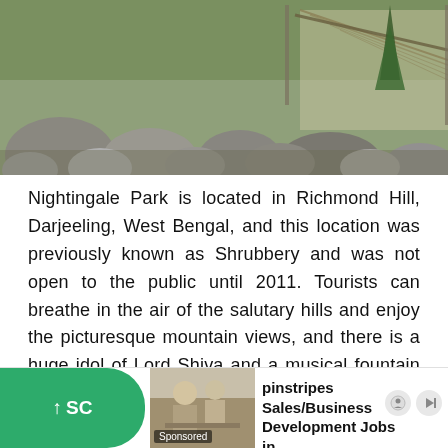[Figure (photo): Outdoor photo of Nightingale Park showing rocks, boulders, a fence/railing structure, trees including a pine tree, and a pathway in a hilly landscape.]
Nightingale Park is located in Richmond Hill, Darjeeling, West Bengal, and this location was previously known as Shrubbery and was not open to the public until 2011. Tourists can breathe in the air of the salutary hills and enjoy the picturesque mountain views, and there is a huge idol of Lord Shiva and a musical fountain in the middle of the park. Nightingale Park is an ideal place for all those visitors who want to sit in peace in the midst of nature.
[Figure (screenshot): Advertisement bar at bottom: green button with up-arrow and 'SC', thumbnail of people, 'Sponsored' label, text reading 'pinstripes Sales/Business Development Jobs in...' from jobble.com, with face icon and play icon.]